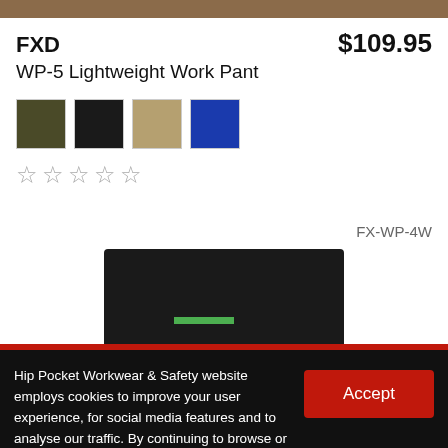[Figure (photo): Partial product image banner at top, cropped brown/tan workwear garment]
FXD
$109.95
WP-5 Lightweight Work Pant
[Figure (illustration): Four color swatches: olive/dark green, black, tan/khaki, navy blue]
[Figure (illustration): Five empty star rating icons]
FX-WP-4W
[Figure (photo): Product photo of black work pants, partially visible]
Hip Pocket Workwear & Safety website employs cookies to improve your user experience, for social media features and to analyse our traffic. By continuing to browse or by clicking 'Accept' you agree to the cookies on this website. For more information, please read our Privacy Policy.
Accept